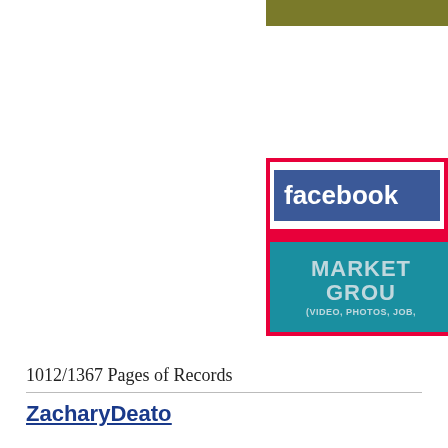[Figure (screenshot): Partial screenshot of a Facebook Marketing Group page showing the Facebook logo/wordmark and text reading MARKET... GROU... (VIDEO, PHOTOS, JOB,...) on a teal background with a red border. An olive/dark yellow banner is visible at the top right.]
1012/1367 Pages of Records
ZacharyDeato